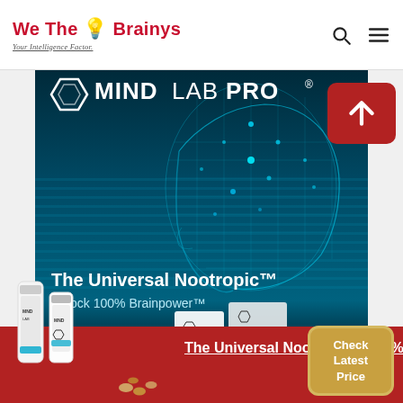We The Brainys — Your Intelligence Factor.
[Figure (illustration): MindLabPro advertisement: dark teal background with horizontal stripes, wireframe human head profile with glowing blue neural network, MindLabPro logo (hexagon + text), taglines 'The Universal Nootropic™' and 'Unlock 100% Brainpower™', product bottles and boxes at bottom]
The Universal Nootropic – 100%
Check Latest Price